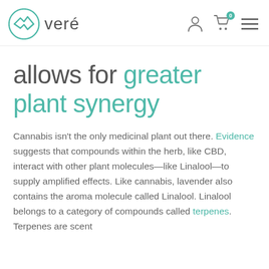[Figure (logo): Veré brand logo with teal circular chevron icon and the word 'veré' in gray sans-serif font]
allows for greater plant synergy
Cannabis isn't the only medicinal plant out there. Evidence suggests that compounds within the herb, like CBD, interact with other plant molecules—like Linalool—to supply amplified effects. Like cannabis, lavender also contains the aroma molecule called Linalool. Linalool belongs to a category of compounds called terpenes. Terpenes are scent molecules that give a plant their...